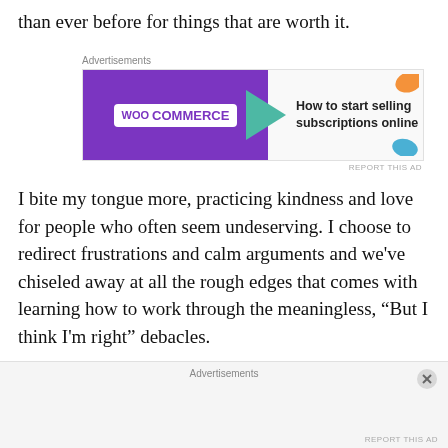than ever before for things that are worth it.
[Figure (other): WooCommerce advertisement banner: 'How to start selling subscriptions online']
I bite my tongue more, practicing kindness and love for people who often seem undeserving. I choose to redirect frustrations and calm arguments and we’ve chiseled away at all the rough edges that comes with learning how to work through the meaningless, “But I think I’m right” debacles.
I’ve learned to be a whole lot more spontaneous. From adopting bunnies from cardboard boxes to deciding on…
[Figure (other): Advertisements placeholder banner at bottom of page]